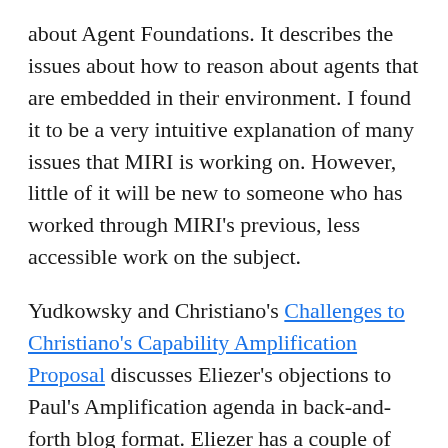about Agent Foundations. It describes the issues about how to reason about agents that are embedded in their environment. I found it to be a very intuitive explanation of many issues that MIRI is working on. However, little of it will be new to someone who has worked through MIRI's previous, less accessible work on the subject.
Yudkowsky and Christiano's Challenges to Christiano's Capability Amplification Proposal discusses Eliezer's objections to Paul's Amplification agenda in back-and-forth blog format. Eliezer has a couple of objections. At a high level, Paul is attempting a more direct solution, working largely within the existing ML framework, vs MIRI's desire to work on things like agent foundations first. Eliezer is concerned that most aggregation/amplification methods do not preserve alignment, and that finding one that does (and building